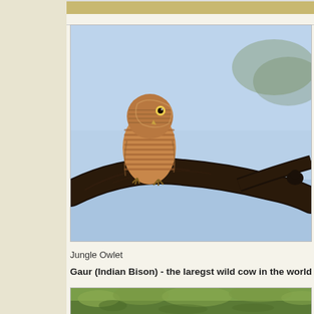[Figure (photo): Partial view of a photo at the very top of the page, cropped — appears to be foliage or another animal photo.]
[Figure (photo): A Jungle Owlet perched on a dark tree branch against a light blue sky background.]
Jungle Owlet
Gaur (Indian Bison) - the laregst wild cow in the world
[Figure (photo): Bottom portion of a photo showing green grass/vegetation, partially cropped — likely a Gaur/Indian Bison photo.]